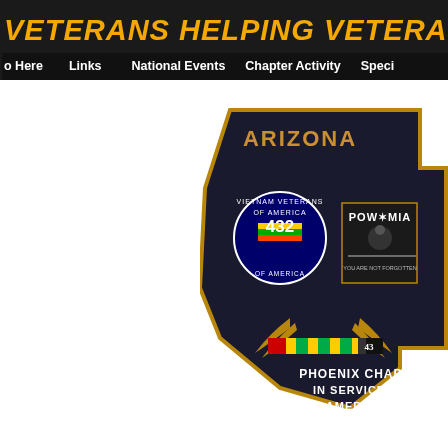VETERANS HELPING VETERANS
o Here   Links   National Events   Chapter Activity   Speci
[Figure (photo): Arizona Vietnam Veterans of America Phoenix Chapter patch shaped like the state of Arizona, showing the VVA Chapter 432 logo, POW-MIA emblem, Vietnam service ribbon, and text 'PHOENIX CHAPTER IN SERVICE TO AMERICA']